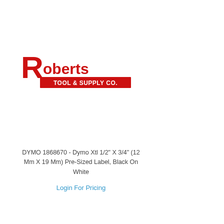[Figure (logo): Roberts Tool & Supply Co. logo — large red R with 'oberts' in red bold text, and 'TOOL & SUPPLY CO.' in white text on a red banner below]
DYMO 1868670 - Dymo Xtl 1/2" X 3/4" (12 Mm X 19 Mm) Pre-Sized Label, Black On White
Login For Pricing